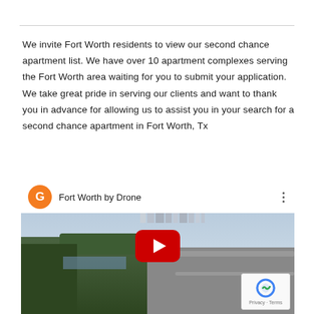We invite Fort Worth residents to view our second chance apartment list. We have over 10 apartment complexes serving the Fort Worth area waiting for you to submit your application. We take great pride in serving our clients and want to thank you in advance for allowing us to assist you in your search for a second chance apartment in Fort Worth, Tx
[Figure (screenshot): Embedded YouTube video thumbnail showing 'Fort Worth by Drone' with orange G avatar icon, video title, and a city skyline aerial view with a red YouTube play button overlay. A reCAPTCHA badge appears in the bottom right corner.]